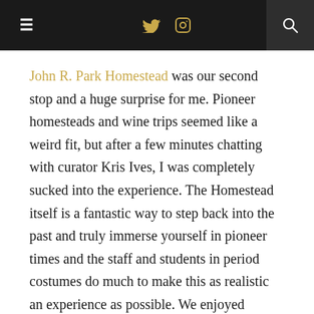≡  🐦 📷  🔍
John R. Park Homestead was our second stop and a huge surprise for me. Pioneer homesteads and wine trips seemed like a weird fit, but after a few minutes chatting with curator Kris Ives, I was completely sucked into the experience. The Homestead itself is a fantastic way to step back into the past and truly immerse yourself in pioneer times and the staff and students in period costumes do much to make this as realistic an experience as possible. We enjoyed visiting the blacksmith shop and learning about the process of making authentic textiles with